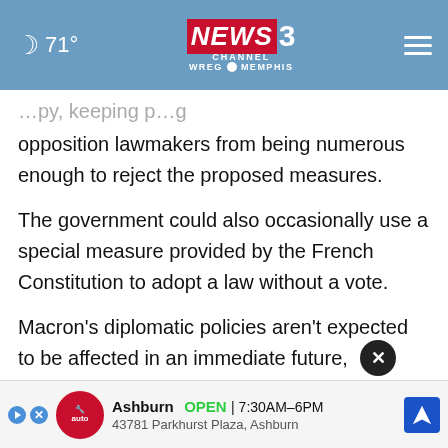71° NEWS CHANNEL 3 WREG MEMPHIS
…py, keeping p…g opposition lawmakers from being numerous enough to reject the proposed measures.
The government could also occasionally use a special measure provided by the French Constitution to adopt a law without a vote.
Macron's diplomatic policies aren't expected to be affected in an immediate future, including France's strong support for Ukraine. In line with the French Constitution, Macron keeps substantial power over foreign … matter what difficulties his alliance may face in parliament.
[Figure (infographic): Advertisement banner: Ashburn OPEN 7:30AM–6PM, 43781 Parkhurst Plaza, Ashburn, with auto parts logo and navigation icon]